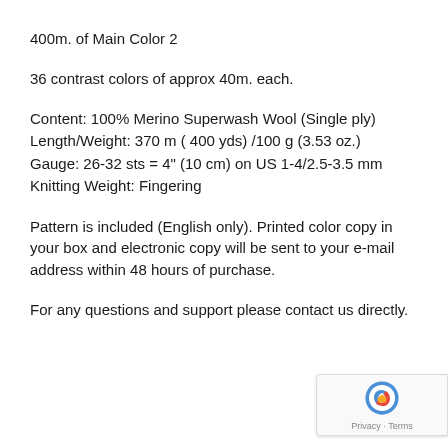400m. of Main Color 2
36 contrast colors of approx 40m. each.
Content: 100% Merino Superwash Wool (Single ply)
Length/Weight: 370 m ( 400 yds) /100 g (3.53 oz.)
Gauge: 26-32 sts = 4" (10 cm) on US 1-4/2.5-3.5 mm
Knitting Weight: Fingering
Pattern is included (English only). Printed color copy in your box and electronic copy will be sent to your e-mail address within 48 hours of purchase.
For any questions and support please contact us directly.